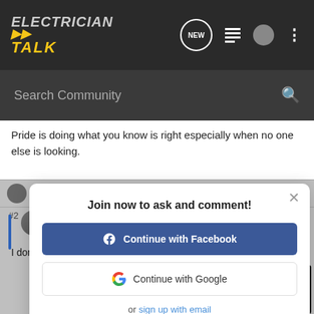ELECTRICIAN TALK
Search Community
Pride is doing what you know is right especially when no one else is looking.
Reply  Quote
Join now to ask and comment!
Continue with Facebook
Continue with Google
or sign up with email
I don't
[Figure (screenshot): AG DAILY NEW GROUND advertisement banner with Chevrolet Watch Now button]